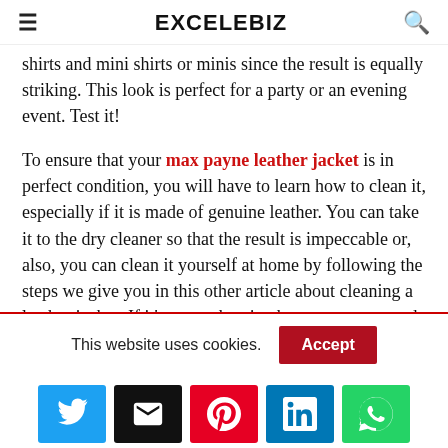EXCELEBIZ
shirts and mini skirts or minis since the result is equally striking. This look is perfect for a party or an evening event. Test it!
To ensure that your max payne leather jacket is in perfect condition, you will have to learn how to clean it, especially if it is made of genuine leather. You can take it to the dry cleaner so that the result is impeccable or, also, you can clean it yourself at home by following the steps we give you in this other article about cleaning a leather jacket: If it's not authentic, then we recommend you read
This website uses cookies.
[Figure (infographic): Social share buttons: Twitter (blue), Email (black), Pinterest (red), LinkedIn (blue), WhatsApp (green)]